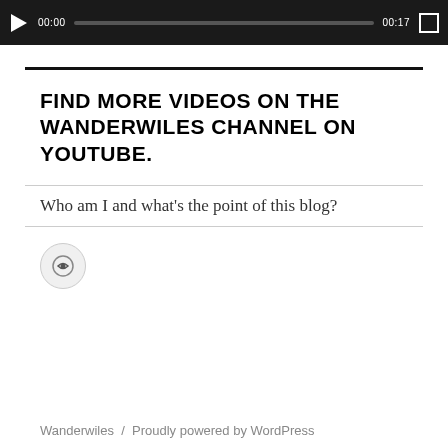[Figure (screenshot): Video player bar with play button showing 00:00 current time, progress bar, 00:17 duration, and fullscreen button on dark background]
FIND MORE VIDEOS ON THE WANDERWILES CHANNEL ON YOUTUBE.
Who am I and what's the point of this blog?
[Figure (other): Circular avatar icon with subscribe/link symbol]
Wanderwiles  /  Proudly powered by WordPress